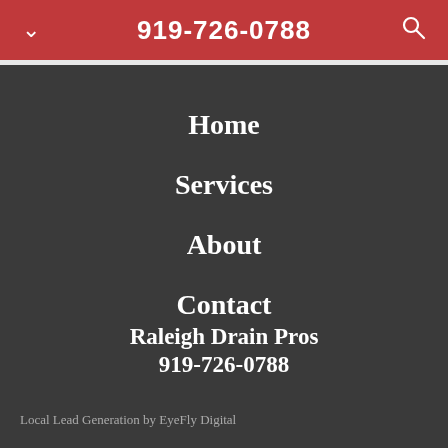919-726-0788
Home
Services
About
Contact
Raleigh Drain Pros
919-726-0788
Local Lead Generation by EyeFly Digital